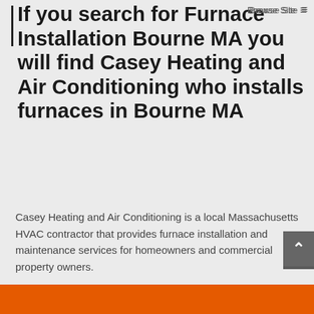Browse Site ≡
If you search for Furnace Installation Bourne MA you will find Casey Heating and Air Conditioning who installs furnaces in Bourne MA
Casey Heating and Air Conditioning is a local Massachusetts HVAC contractor that provides furnace installation and maintenance services for homeowners and commercial property owners.
As the winter months roll around, you may grow more and more excited to feel the sweet heat of your gas furnace. However, too often, a complete shutdown is the only indication an owner has that their gas furnace might be in need of service.
This is less-than-ideal — especially in the long winter months